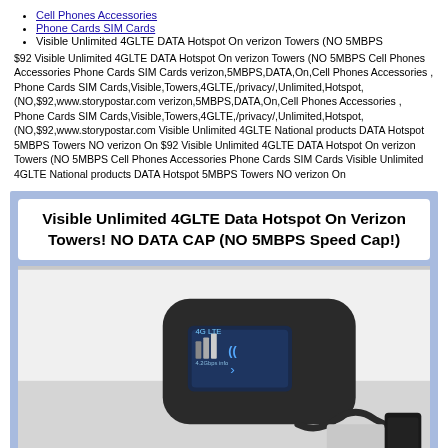Cell Phones Accessories
Phone Cards SIM Cards
Visible Unlimited 4GLTE DATA Hotspot On verizon Towers (NO 5MBPS
$92 Visible Unlimited 4GLTE DATA Hotspot On verizon Towers (NO 5MBPS Cell Phones Accessories Phone Cards SIM Cards verizon,5MBPS,DATA,On,Cell Phones Accessories , Phone Cards SIM Cards,Visible,Towers,4GLTE,/privacy/,Unlimited,Hotspot,(NO,$92,www.storypostar.com verizon,5MBPS,DATA,On,Cell Phones Accessories , Phone Cards SIM Cards,Visible,Towers,4GLTE,/privacy/,Unlimited,Hotspot,(NO,$92,www.storypostar.com Visible Unlimited 4GLTE National products DATA Hotspot 5MBPS Towers NO verizon On $92 Visible Unlimited 4GLTE DATA Hotspot On verizon Towers (NO 5MBPS Cell Phones Accessories Phone Cards SIM Cards Visible Unlimited 4GLTE National products DATA Hotspot 5MBPS Towers NO verizon On
[Figure (photo): Product listing image showing a mobile hotspot device (black, rounded rectangle with a small screen displaying signal info) alongside a charging cable and power adapter, on a white surface. Above the photo is a white banner with bold black text: 'Visible Unlimited 4GLTE Data Hotspot On Verizon Towers! NO DATA CAP (NO 5MBPS Speed Cap!)'. The image has a light blue/periwinkle background border.]